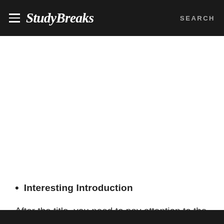Study Breaks   SEARCH
Interesting Introduction
After the title, you need to pay attention to the introduction of the blog post. An interesting or